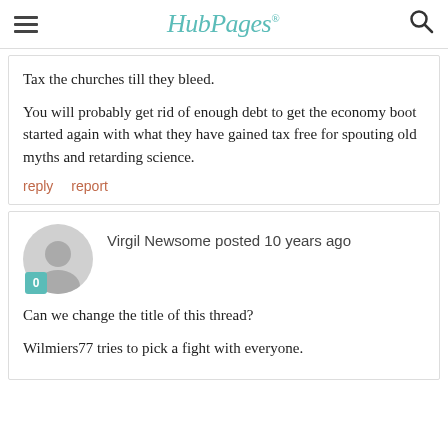HubPages
Tax the churches till they bleed.

You will probably get rid of enough debt to get the economy boot started again with what they have gained tax free for spouting old myths and retarding science.
reply   report
Virgil Newsome posted 10 years ago
Can we change the title of this thread?

Wilmiers77 tries to pick a fight with everyone.